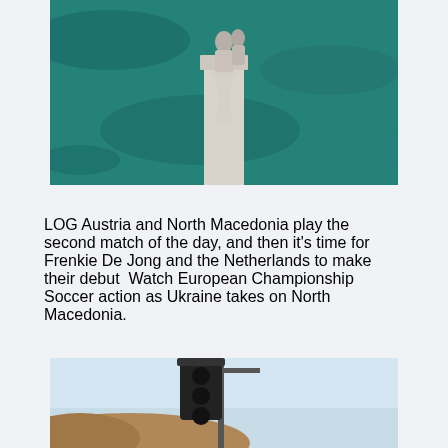[Figure (photo): Aerial view of a statue/monument on a pedestal surrounded by teal/turquoise water, with two figures visible on top of the white stone structure.]
LOG Austria and North Macedonia play the second match of the day, and then it's time for Frenkie De Jong and the Netherlands to make their debut  Watch European Championship Soccer action as Ukraine takes on North Macedonia.
[Figure (photo): Partial view of a traffic signal/light on a metal structure with rocky terrain and blue sky in the background.]